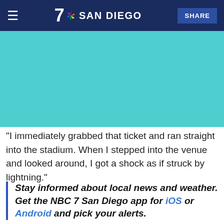NBC 7 SAN DIEGO — SHARE
[Figure (other): Teal/cyan colored rectangular image placeholder]
"I immediately grabbed that ticket and ran straight into the stadium. When I stepped into the venue and looked around, I got a shock as if struck by lightning."
Stay informed about local news and weather. Get the NBC 7 San Diego app for iOS or Android and pick your alerts.